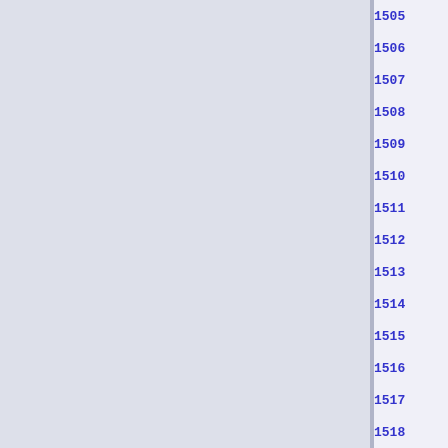1505  </packing>
1506  </child>
1507
1508  <child>
1509    <widget class="GtkButton"
1510      <property name="visible"
1511      <property name="can_fo
1512      <property name="label"
1513      <property name="use_un
1514      <property name="relief"
1515      <property name="focus_
1516      <signal name="clicked"
1517    </widget>
1518    <packing>
1519      <property name="paddin
1520      <property name="expand
1521      <property name="fill"